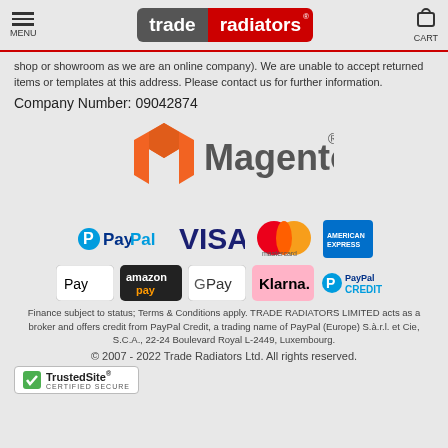MENU | trade radiators | CART
shop or showroom as we are an online company). We are unable to accept returned items or templates at this address. Please contact us for further information.
Company Number: 09042874
[Figure (logo): Magento logo with orange hexagon icon and Magento wordmark]
[Figure (logo): Payment method logos: PayPal, VISA, Mastercard, American Express, Apple Pay, Amazon Pay, Google Pay, Klarna, PayPal Credit]
Finance subject to status; Terms & Conditions apply. TRADE RADIATORS LIMITED acts as a broker and offers credit from PayPal Credit, a trading name of PayPal (Europe) S.à.r.l. et Cie, S.C.A., 22-24 Boulevard Royal L-2449, Luxembourg.
© 2007 - 2022 Trade Radiators Ltd. All rights reserved.
[Figure (logo): TrustedSite Certified Secure badge]